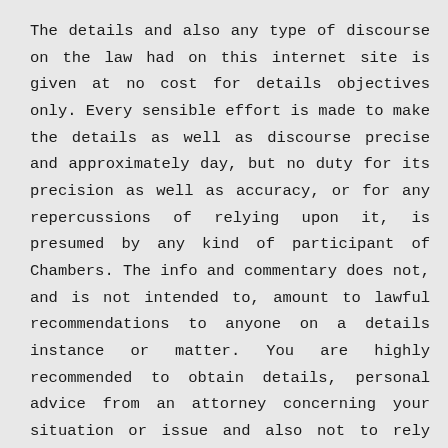The details and also any type of discourse on the law had on this internet site is given at no cost for details objectives only. Every sensible effort is made to make the details as well as discourse precise and approximately day, but no duty for its precision as well as accuracy, or for any repercussions of relying upon it, is presumed by any kind of participant of Chambers. The info and commentary does not, and is not intended to, amount to lawful recommendations to anyone on a details instance or matter. You are highly recommended to obtain details, personal advice from an attorney concerning your situation or issue and also not to rely upon the info or talk about this website. No duty is approved for the web content or precision of connected websites.